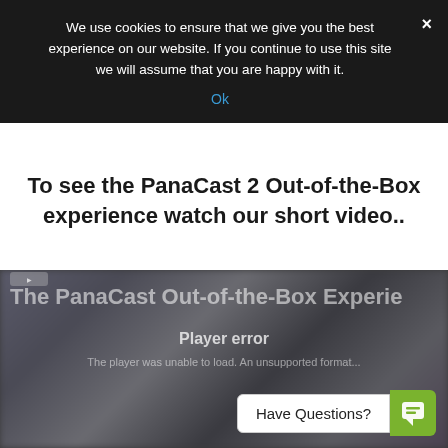We use cookies to ensure that we give you the best experience on our website. If you continue to use this site we will assume that you are happy with it.
Ok
To see the PanaCast 2 Out-of-the-Box experience watch our short video..
[Figure (screenshot): A video player showing 'The PanaCast Out-of-the-Box Experience' with a player error message. The video thumbnail shows blurred figures of people. A 'Player error' message is displayed with error description. A 'Have Questions?' button with a green chat icon is visible at the bottom right.]